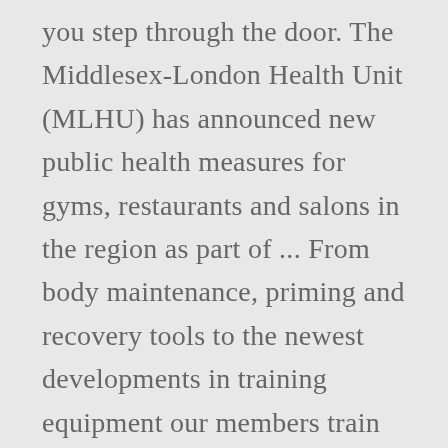you step through the door. The Middlesex-London Health Unit (MLHU) has announced new public health measures for gyms, restaurants and salons in the region as part of ... From body maintenance, priming and recovery tools to the newest developments in training equipment our members train at the forefront of the fitness industry. United Kingdom. 90 Long Acre amazing if your goal is Weight Loss, Toning, Strength & Conditioning, Build Muscle or General Fitness Spin You'll ride to motivating music whilst improving your cardio fitness, burning ... Fulham (Unit 24, Fulham Broadway Retail Centre, Fulham Road, London, SW6 1BW) Why? Located in the heart of London just...